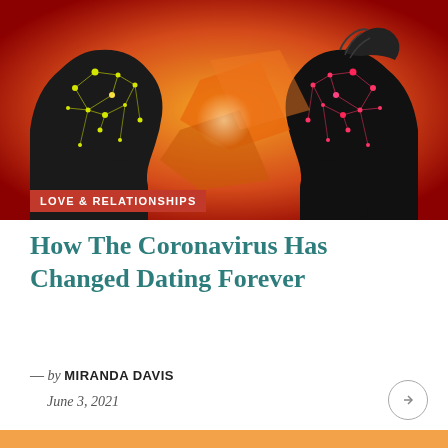[Figure (illustration): Hero image showing two silhouetted human head profiles facing each other against an orange-red background, with glowing network/neural connection dots and lines overlaid on the silhouettes — yellow-green on the left and pink-red on the right.]
LOVE & RELATIONSHIPS
How The Coronavirus Has Changed Dating Forever
— by MIRANDA DAVIS
June 3, 2021